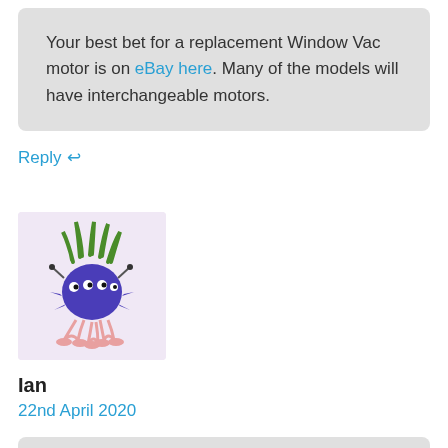Your best bet for a replacement Window Vac motor is on eBay here. Many of the models will have interchangeable motors.
Reply ↩
[Figure (illustration): Avatar image of a cartoon creature with green tentacles/hair, blue spiky body with eyes, and pink feet/legs on a light purple background]
Ian
22nd April 2020
My Karcher WV2 runs for about 5 secs then